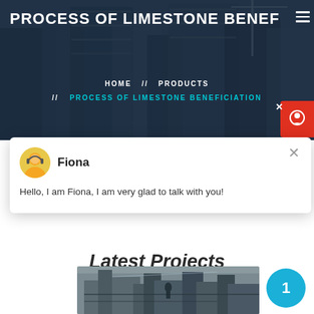PROCESS OF LIMESTONE BENEF...
HOME  //  PRODUCTS  //  PROCESS OF LIMESTONE BENEFICIATION
[Figure (screenshot): Chat popup with avatar of Fiona, close button (x), and message: Hello, I am Fiona, I am very glad to talk with you!]
Latest Projects
[Figure (photo): Industrial limestone beneficiation facility with machinery and conveyor equipment]